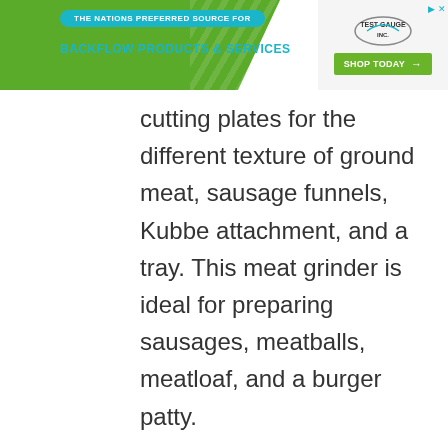THE NATIONS PREFERRED SOURCE FOR BACKFLOW PRODUCTS & SERVICES | TEST GAUGE INC. | SHOP TODAY
cutting plates for the different texture of ground meat, sausage funnels, Kubbe attachment, and a tray. This meat grinder is ideal for preparing sausages, meatballs, meatloaf, and a burger patty.

There is a built-in storage box which makes the user store the parts of the meat grinder without occupying extra space